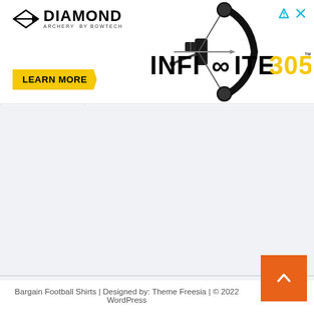[Figure (screenshot): Diamond Archery advertisement banner featuring the Diamond Archery logo, a compound bow image on the right, Infinite 305 branding, and a yellow Learn More button. Ad controls (arrow and X) appear in the top right.]
[Figure (other): Collapse/up-chevron tab below the ad banner]
[Figure (other): Orange back-to-top button with up chevron arrow, bottom right]
Bargain Football Shirts | Designed by: Theme Freesia | © 2022 WordPress